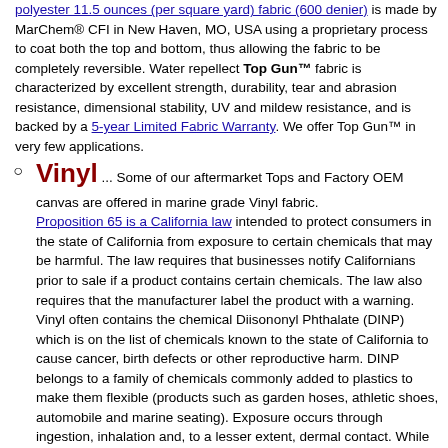polyester 11.5 ounces (per square yard) fabric (600 denier) is made by MarChem® CFI in New Haven, MO, USA using a proprietary process to coat both the top and bottom, thus allowing the fabric to be completely reversible. Water repellect Top Gun™ fabric is characterized by excellent strength, durability, tear and abrasion resistance, dimensional stability, UV and mildew resistance, and is backed by a 5-year Limited Fabric Warranty. We offer Top Gun™ in very few applications.
Vinyl ... Some of our aftermarket Tops and Factory OEM canvas are offered in marine grade Vinyl fabric. Proposition 65 is a California law intended to protect consumers in the state of California from exposure to certain chemicals that may be harmful. The law requires that businesses notify Californians prior to sale if a product contains certain chemicals. The law also requires that the manufacturer label the product with a warning. Vinyl often contains the chemical Diisononyl Phthalate (DINP) which is on the list of chemicals known to the state of California to cause cancer, birth defects or other reproductive harm. DINP belongs to a family of chemicals commonly added to plastics to make them flexible (products such as garden hoses, athletic shoes, automobile and marine seating). Exposure occurs through ingestion, inhalation and, to a lesser extent, dermal contact. While such products are perfectly safe to use in their intended manner, the law still requires that